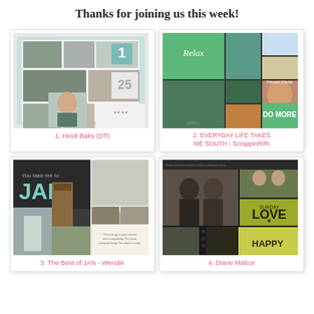Thanks for joining us this week!
[Figure (photo): Scrapbook layout with winter/snow photos, number 1 and 25 decorative elements - Heidi Baks]
1. Heidi Baks (DT)
[Figure (photo): Scrapbook layout with green theme, 'Relax', 'Do More' text and Florida vacation photos - ScrappinRiRi]
2. EVERYDAY LIFE TAKES ME SOUTH - ScrappinRiRi
[Figure (photo): Scrapbook layout with JAN title and winter/January photos - Wendie]
3. The Best of JAN - Wendie
[Figure (photo): Scrapbook layout with couple photos, yellow/green LOVE and HAPPY text - Diane Malcor]
4. Diane Malcor